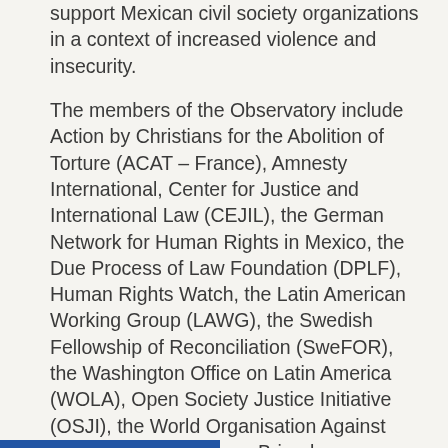support Mexican civil society organizations in a context of increased violence and insecurity.
The members of the Observatory include Action by Christians for the Abolition of Torture (ACAT – France), Amnesty International, Center for Justice and International Law (CEJIL), the German Network for Human Rights in Mexico, the Due Process of Law Foundation (DPLF), Human Rights Watch, the Latin American Working Group (LAWG), the Swedish Fellowship of Reconciliation (SweFOR), the Washington Office on Latin America (WOLA), Open Society Justice Initiative (OSJI), the World Organisation Against Torture (OMCT), Peace Brigades International – USA (PBI-USA), Robert F. Kennedy Human Rights, and the Wilson Center.